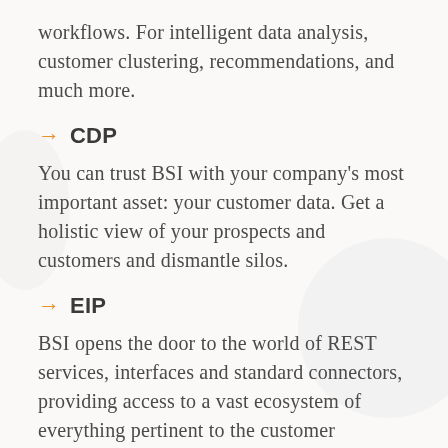workflows. For intelligent data analysis, customer clustering, recommendations, and much more.
→ CDP
You can trust BSI with your company's most important asset: your customer data. Get a holistic view of your prospects and customers and dismantle silos.
→ EIP
BSI opens the door to the world of REST services, interfaces and standard connectors, providing access to a vast ecosystem of everything pertinent to the customer experience.